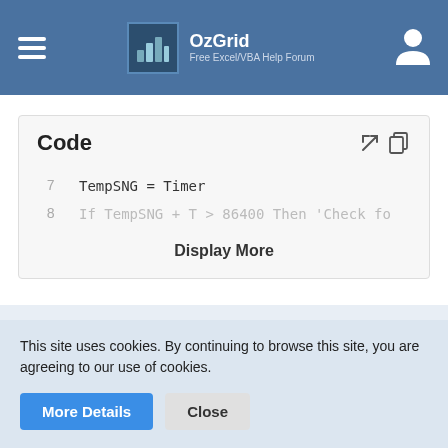OzGrid — Free Excel/VBA Help Forum
Code
7    TempSNG = Timer
8    If TempSNG + T > 86400 Then 'Check fo
Display More
DA — dayslypper — Beginner
This site uses cookies. By continuing to browse this site, you are agreeing to our use of cookies.
More Details   Close